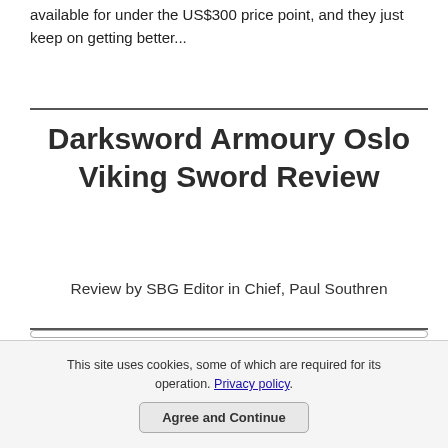available for under the US$300 price point, and they just keep on getting better...
Darksword Armoury Oslo Viking Sword Review
Review by SBG Editor in Chief, Paul Southren
|  |  |
| --- | --- |
| Steel | 5160 Spring Steel |
| Weight | 2lbs 7oz |
| Point of Balance | 6.5" from guard |
This site uses cookies, some of which are required for its operation. Privacy policy.
Agree and Continue